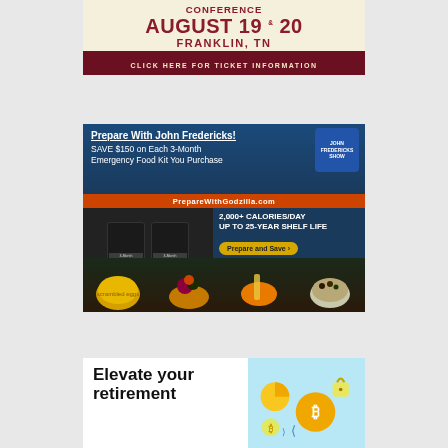[Figure (advertisement): Conference advertisement: CONFERENCE AUGUST 19 & 20 FRANKLIN, TN with dark red 'CLICK HERE FOR TICKET INFORMATION' banner on cream background]
[Figure (advertisement): Emergency food kit advertisement: 'Prepare With John Fredericks! SAVE $150 on Each 3-Month Emergency Food Kit You Purchase' on dark blue background with food photos, PrepareWithGodzilla.com, 2,000+ CALORIES/DAY UP TO 25-YEAR SHELF LIFE, Prepare and Save button]
[Figure (advertisement): Retirement/crypto investment advertisement: 'Elevate your retirement' text on left, crypto icons on light blue background on right]